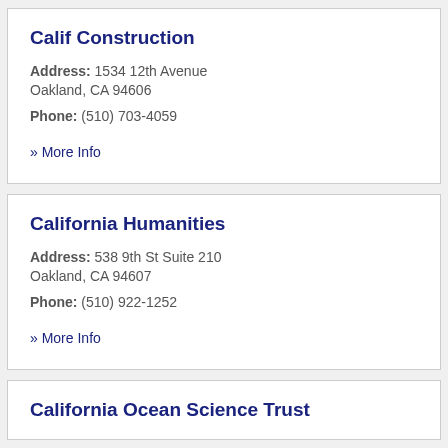Calif Construction
Address: 1534 12th Avenue Oakland, CA 94606
Phone: (510) 703-4059
» More Info
California Humanities
Address: 538 9th St Suite 210 Oakland, CA 94607
Phone: (510) 922-1252
» More Info
California Ocean Science Trust